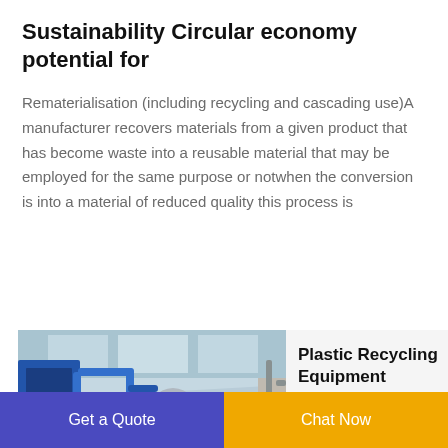Sustainability Circular economy potential for
Rematerialisation (including recycling and cascading use)A manufacturer recovers materials from a given product that has become waste into a reusable material that may be employed for the same purpose or notwhen the conversion is into a material of reduced quality this process is
[Figure (photo): Industrial plastic recycling equipment inside a factory building with blue machinery and pipes]
Plastic Recycling Equipment ZERMA Recycling Machinery
Get a Quote  |  Chat Now